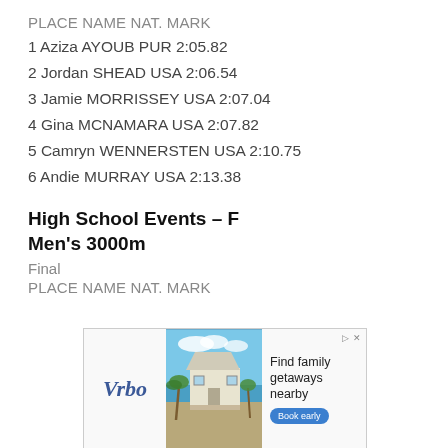| PLACE | NAME | NAT. | MARK |
| --- | --- | --- | --- |
| 1 | Aziza AYOUB | PUR | 2:05.82 |
| 2 | Jordan SHEAD | USA | 2:06.54 |
| 3 | Jamie MORRISSEY | USA | 2:07.04 |
| 4 | Gina MCNAMARA | USA | 2:07.82 |
| 5 | Camryn WENNERSTEN | USA | 2:10.75 |
| 6 | Andie MURRAY | USA | 2:13.38 |
High School Events – F
Men's 3000m
Final
| PLACE | NAME | NAT. | MARK |
| --- | --- | --- | --- |
[Figure (other): Vrbo advertisement banner showing a vacation beach house with text 'Find family getaways nearby' and a 'Book early' button]